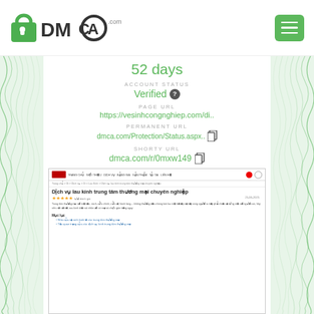[Figure (logo): DMCA.com logo with padlock icon]
52 days
ACCOUNT STATUS
Verified
PAGE URL
https://vesinhcongnghiep.com/di..
PERMANENT URL
dmca.com/Protection/Status.aspx..
SHORTY URL
dmca.com/r/0mxw149
[Figure (screenshot): Screenshot of vesinhcongnghiep.com page titled 'Dich vu lau kinh trung tam thuong mai chuyen nghiep']